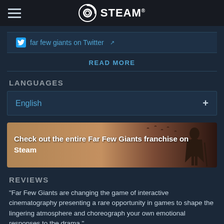STEAM®
far few giants on Twitter ↗
READ MORE
LANGUAGES
English +
[Figure (illustration): Franchise banner with text: Check out the entire Far Few Giants franchise on Steam, and a dark silhouette of a tall figure against a warm desert-toned background]
REVIEWS
“Far Few Giants are changing the game of interactive cinematography presenting a rare opportunity in games to shape the lingering atmosphere and choreograph your own emotional responses to the drama.”